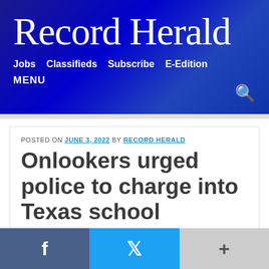Record Herald
Jobs  Classifieds  Subscribe  E-Edition
MENU
POSTED ON JUNE 3, 2022 BY RECORD HERALD
Onlookers urged police to charge into Texas school
NEWS